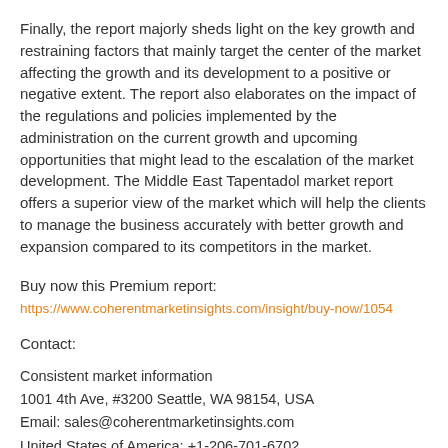Finally, the report majorly sheds light on the key growth and restraining factors that mainly target the center of the market affecting the growth and its development to a positive or negative extent. The report also elaborates on the impact of the regulations and policies implemented by the administration on the current growth and upcoming opportunities that might lead to the escalation of the market development. The Middle East Tapentadol market report offers a superior view of the market which will help the clients to manage the business accurately with better growth and expansion compared to its competitors in the market.
Buy now this Premium report:
https://www.coherentmarketinsights.com/insight/buy-now/1054
Contact:
Consistent market information
1001 4th Ave, #3200 Seattle, WA 98154, USA
Email: sales@coherentmarketinsights.com
United States of America: +1-206-701-6702
UK: +44-020-8133-4027